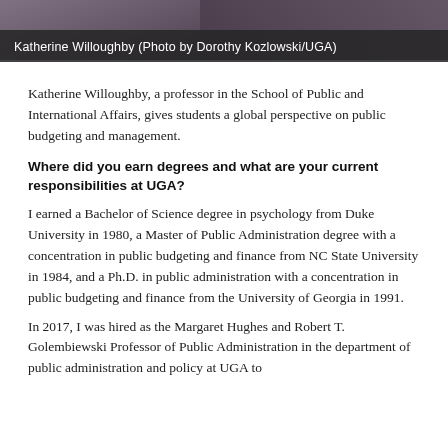[Figure (photo): Partial photo of Katherine Willoughby at top of page, dark/purple toned background strip]
Katherine Willoughby (Photo by Dorothy Kozlowski/UGA)
Katherine Willoughby, a professor in the School of Public and International Affairs, gives students a global perspective on public budgeting and management.
Where did you earn degrees and what are your current responsibilities at UGA?
I earned a Bachelor of Science degree in psychology from Duke University in 1980, a Master of Public Administration degree with a concentration in public budgeting and finance from NC State University in 1984, and a Ph.D. in public administration with a concentration in public budgeting and finance from the University of Georgia in 1991.
In 2017, I was hired as the Margaret Hughes and Robert T. Golembiewski Professor of Public Administration in the department of public administration and policy at UGA to